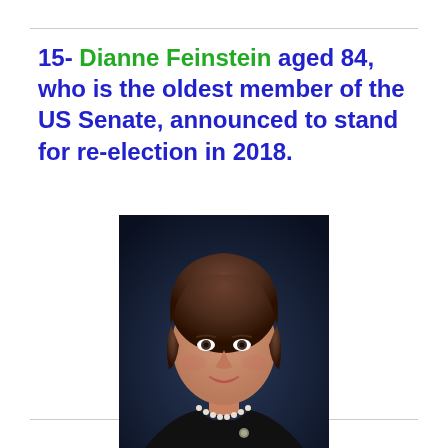15- Dianne Feinstein aged 84, who is the oldest member of the US Senate, announced to stand for re-election in 2018.
[Figure (photo): Official portrait photograph of Dianne Feinstein, elderly woman with brown hair, wearing a black jacket and pearl necklace, against a dark blue background]
Dianne Feinstein